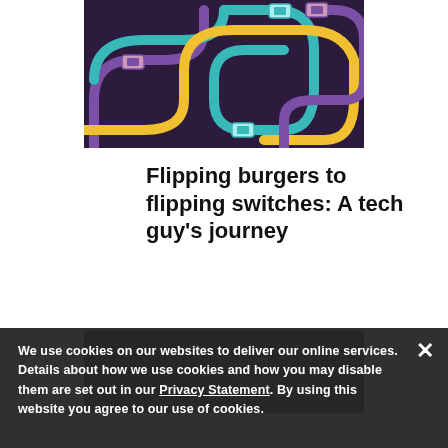[Figure (illustration): Colorful USB cables (yellow, teal/cyan, purple) on a dark purple background, illustrated in a flat graphic style, showing cable connectors and curved/winding paths.]
Flipping burgers to flipping switches: A tech guy's journey
[Figure (photo): Dark space/galaxy background with the text 'open Source' written in chalk or light lettering.]
We use cookies on our websites to deliver our online services. Details about how we use cookies and how you may disable them are set out in our Privacy Statement. By using this website you agree to our use of cookies.